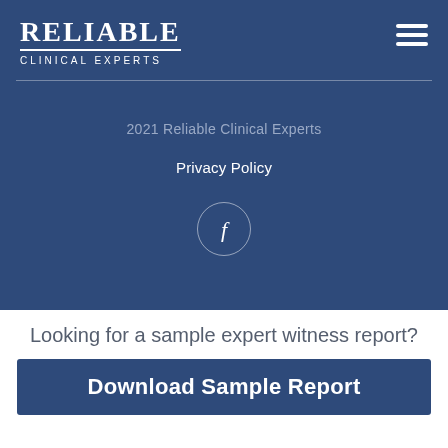[Figure (logo): Reliable Clinical Experts logo with white serif text and hamburger menu icon on dark blue background]
2021 Reliable Clinical Experts
Privacy Policy
[Figure (illustration): Facebook icon in a circle outline]
Looking for a sample expert witness report?
Download Sample Report